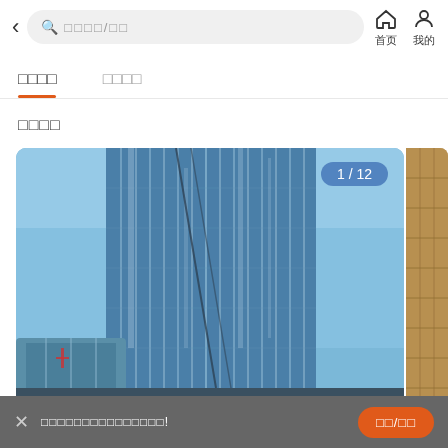< 搜索楼盘/小区 首页 我的
□□□□
□□□□
□□□□
[Figure (photo): Glass skyscraper building photographed from below against blue sky, with image counter badge showing 1/12 in top right corner. Partial view of another building on the right edge.]
□□□□□□□□□□□□□□□!
□□/□□